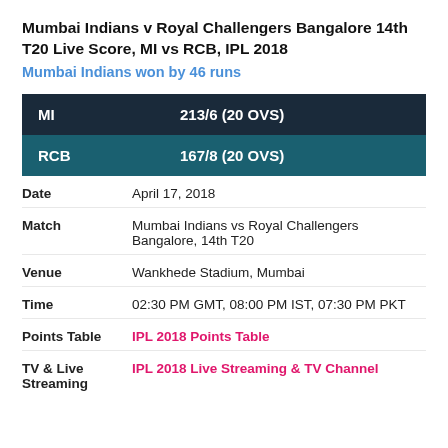Mumbai Indians v Royal Challengers Bangalore 14th T20 Live Score, MI vs RCB, IPL 2018
Mumbai Indians won by 46 runs
| Team | Score |
| --- | --- |
| MI | 213/6 (20 OVS) |
| RCB | 167/8 (20 OVS) |
| Date | April 17, 2018 |
| Match | Mumbai Indians vs Royal Challengers Bangalore, 14th T20 |
| Venue | Wankhede Stadium, Mumbai |
| Time | 02:30 PM GMT, 08:00 PM IST, 07:30 PM PKT |
| Points Table | IPL 2018 Points Table |
| TV & Live Streaming | IPL 2018 Live Streaming & TV Channel |